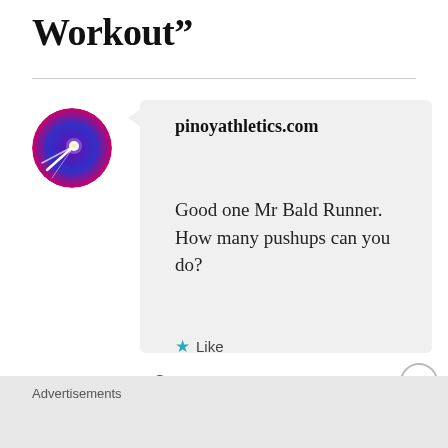Workout”
pinoyathletics.com
Good one Mr Bald Runner. How many pushups can you do?
Like
DECEMBER 26, 2012 AT 3:53 PM
Advertisements